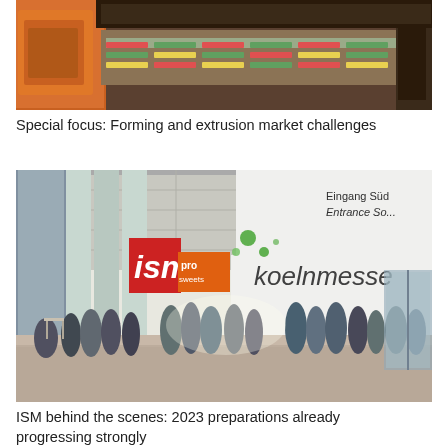[Figure (photo): Close-up photo of industrial forming/extrusion machinery with orange, green, and red colored components and conveyor belts]
Special focus: Forming and extrusion market challenges
[Figure (photo): Entrance of Koelnmesse exhibition hall with ISM and pro sweets signs, crowd of visitors gathered outside]
ISM behind the scenes: 2023 preparations already progressing strongly